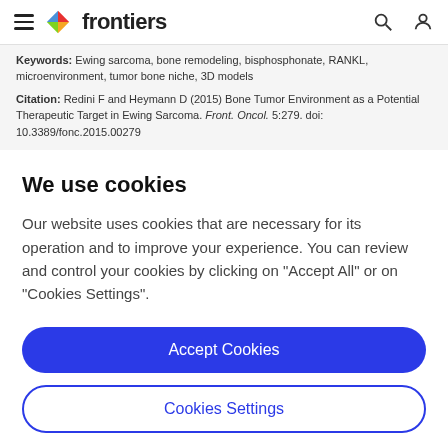frontiers
Keywords: Ewing sarcoma, bone remodeling, bisphosphonate, RANKL, microenvironment, tumor bone niche, 3D models
Citation: Redini F and Heymann D (2015) Bone Tumor Environment as a Potential Therapeutic Target in Ewing Sarcoma. Front. Oncol. 5:279. doi: 10.3389/fonc.2015.00279
We use cookies
Our website uses cookies that are necessary for its operation and to improve your experience. You can review and control your cookies by clicking on "Accept All" or on "Cookies Settings".
Accept Cookies
Cookies Settings